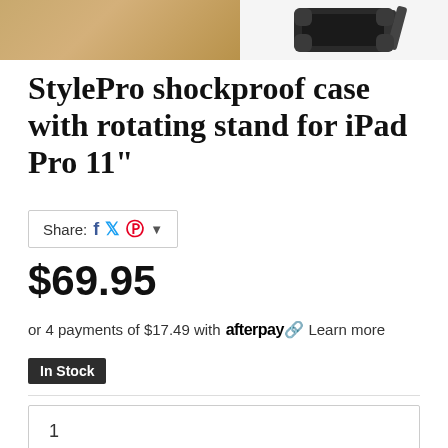[Figure (photo): Top strip showing product images — left side warm golden/tan product photo, right side dark grey shockproof case with rotating stand on white background]
StylePro shockproof case with rotating stand for iPad Pro 11"
Share: [Facebook] [Twitter] [Pinterest] ▾
$69.95
or 4 payments of $17.49 with afterpay Learn more
In Stock
1
Add to Cart
Calculate Shipping